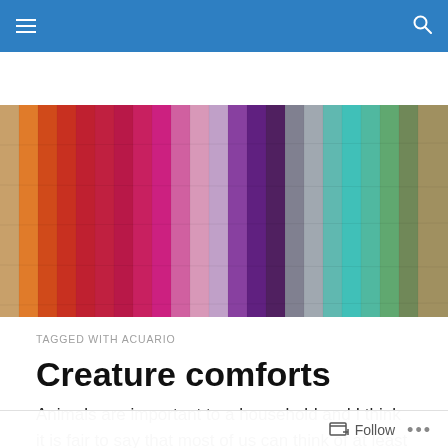Navigation bar with hamburger menu and search icon
[Figure (photo): Colorful painted wooden planks arranged side by side in a rainbow of colors including orange, red, magenta, pink, lavender, purple, dark purple, gray, teal, and green.]
TAGGED WITH ACUARIO
Creature comforts
Animals are important to a household and I think it is fair to say that most of us can think of at least one loveable
Follow